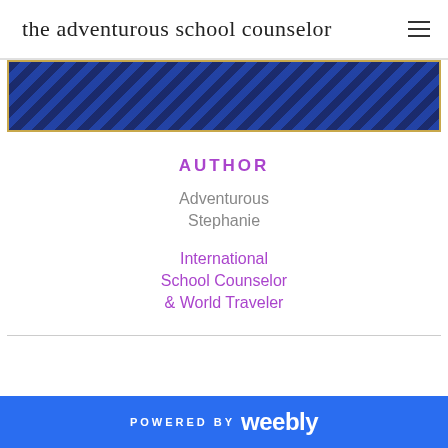the adventurous school counselor
[Figure (photo): Partial photo of a person wearing a dark blue striped outfit, cropped to show upper body area with gold/tan border frame]
AUTHOR
Adventurous
Stephanie
International
School Counselor
& World Traveler
POWERED BY weebly